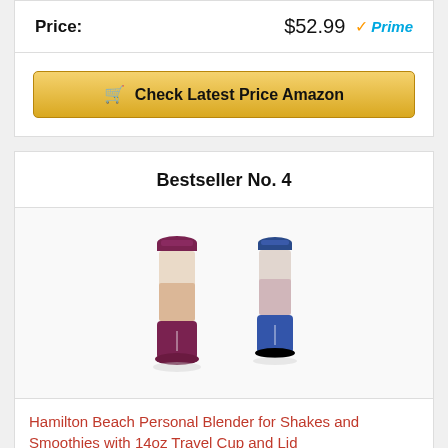Price: $52.99 Prime
Check Latest Price Amazon
Bestseller No. 4
[Figure (photo): Two personal blenders side by side — one purple/maroon and one blue — Hamilton Beach personal blender models with clear travel cups]
Hamilton Beach Personal Blender for Shakes and Smoothies with 14oz Travel Cup and Lid